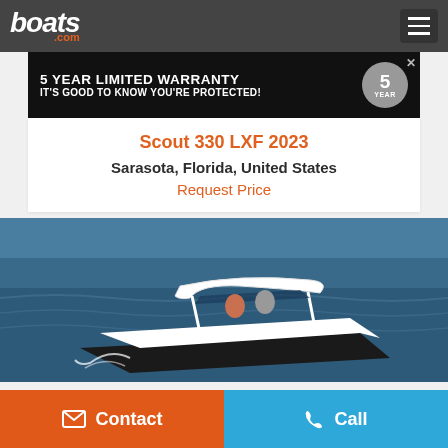boats.com
[Figure (other): Advertisement banner: 5 YEAR LIMITED WARRANTY - IT'S GOOD TO KNOW YOU'RE PROTECTED! with a circular badge showing '5 YEAR']
Scout 330 LXF 2023
Sarasota, Florida, United States
Request Price
[Figure (photo): Photo of a white Scout 330 LXF motorboat speeding on choppy water with two people visible onboard, featuring a white hardtop canopy]
Contact
Call